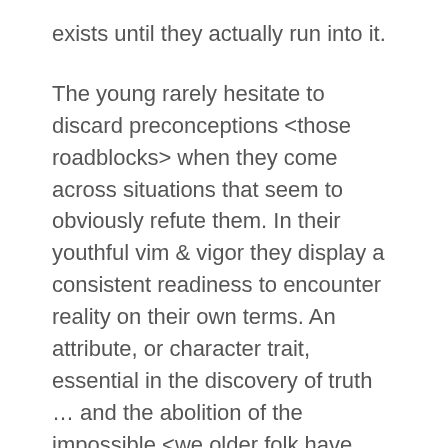exists until they actually run into it.
The young rarely hesitate to discard preconceptions <those roadblocks> when they come across situations that seem to obviously refute them. In their youthful vim & vigor they display a consistent readiness to encounter reality on their own terms. An attribute, or character trait, essential in the discovery of truth … and the abolition of the impossible <we older folk have stated as truth>.